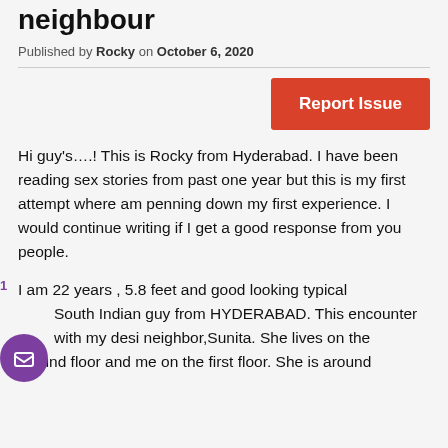neighbour
Published by Rocky on October 6, 2020
[Figure (other): Red Report Issue button]
Hi guy's….! This is Rocky from Hyderabad. I have been reading sex stories from past one year but this is my first attempt where am penning down my first experience. I would continue writing if I get a good response from you people.
I am 22 years , 5.8 feet and good looking typical South Indian guy from HYDERABAD. This encounter with my desi neighbor,Sunita. She lives on the ground floor and me on the first floor. She is around